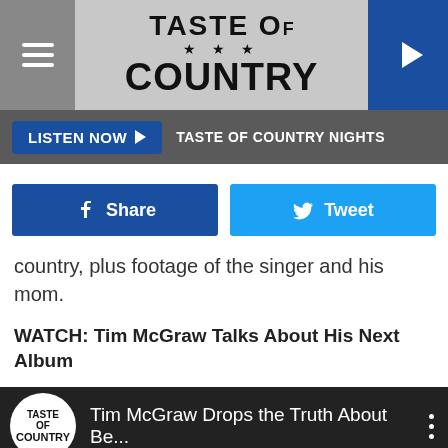[Figure (logo): Taste of Country website header with hamburger menu on left, Taste of Country logo in center, and play button on right]
[Figure (screenshot): Listen Now button bar with TASTE OF COUNTRY NIGHTS label]
[Figure (screenshot): Facebook Share and Twitter Tweet social sharing buttons]
country, plus footage of the singer and his mom.
WATCH: Tim McGraw Talks About His Next Album
[Figure (screenshot): YouTube video embed showing Taste of Country channel logo and title: Tim McGraw Drops the Truth About Be...]